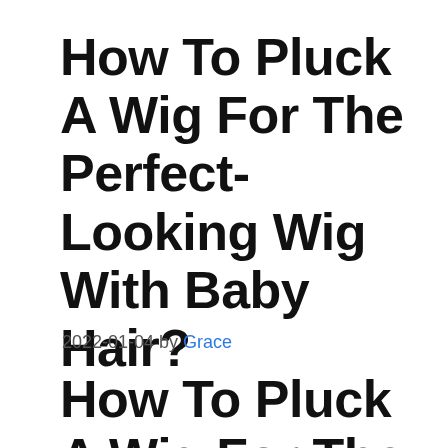How To Pluck A Wig For The Perfect-Looking Wig With Baby Hair?
2022-01-04 by Grace
How To Pluck A Wig For The